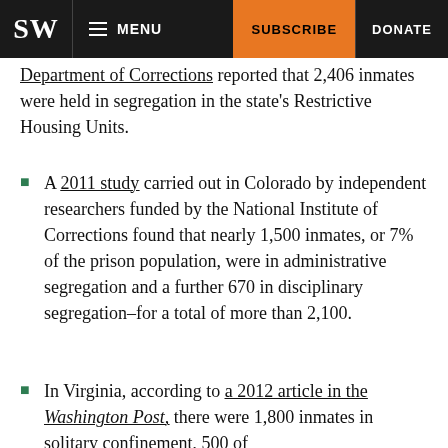SW | MENU | SUBSCRIBE | DONATE
Department of Corrections reported that 2,406 inmates were held in segregation in the state's Restrictive Housing Units.
A 2011 study carried out in Colorado by independent researchers funded by the National Institute of Corrections found that nearly 1,500 inmates, or 7% of the prison population, were in administrative segregation and a further 670 in disciplinary segregation–for a total of more than 2,100.
In Virginia, according to a 2012 article in the Washington Post, there were 1,800 inmates in solitary confinement, 500 of